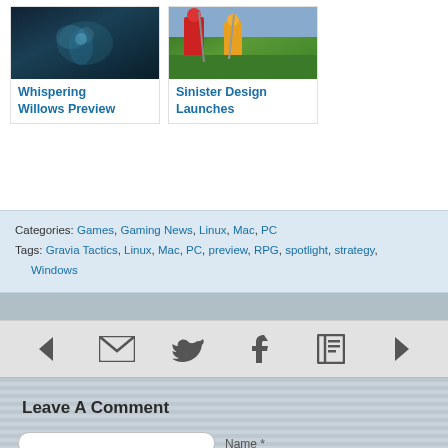[Figure (photo): Game screenshot for Whispering Willows Preview - dark blue/teal underwater scene]
Whispering Willows Preview
[Figure (photo): Game screenshot for Sinister Design Launches - colorful medieval battle scene]
Sinister Design Launches
Categories: Games, Gaming News, Linux, Mac, PC
Tags: Gravia Tactics, Linux, Mac, PC, preview, RPG, spotlight, strategy, Windows
◄ [email icon] [twitter icon] [facebook icon] [bookmark icon] ►
Leave A Comment
Name *
Mail (unpublished) *
Website